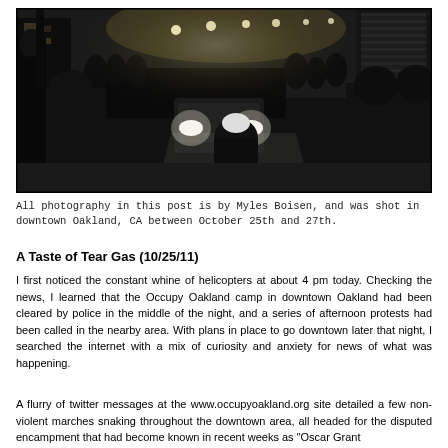[Figure (photo): Black and white night photograph of a large crowd of protesters marching down a downtown Oakland street, with a car with headlights on visible in the middle of the crowd, buildings and bright street lights in the background.]
All photography in this post is by Myles Boisen, and was shot in downtown Oakland, CA between October 25th and 27th.
A Taste of Tear Gas (10/25/11)
I first noticed the constant whine of helicopters at about 4 pm today. Checking the news, I learned that the Occupy Oakland camp in downtown Oakland had been cleared by police in the middle of the night, and a series of afternoon protests had been called in the nearby area. With plans in place to go downtown later that night, I searched the internet with a mix of curiosity and anxiety for news of what was happening.
A flurry of twitter messages at the www.occupyoakland.org site detailed a few non-violent marches snaking throughout the downtown area, all headed for the disputed encampment that had become known in recent weeks as "Oscar Grant Plaza". As I obtained more details about the situation, I came to realize that...